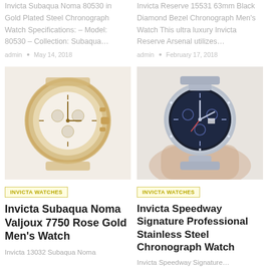Invicta Subaqua Noma 80530 in Gold Plated Steel Chronograph Watch Specifications: – Model: 80530 – Collection: Subaqua…
admin • May 14, 2018
Invicta Reserve 15531 63mm Black Diamond Bezel Chronograph Men's Watch This ultra luxury Invicta Reserve Arsenal utilizes…
admin • February 17, 2018
[Figure (photo): Gold-toned Invicta Subaqua Noma Valjoux 7750 Rose Gold Men's Watch on light background]
INVICTA WATCHES
Invicta Subaqua Noma Valjoux 7750 Rose Gold Men's Watch
Invicta 13032 Subaqua Noma
[Figure (photo): Hand holding a silver Invicta Speedway Signature Professional Stainless Steel Chronograph Watch with blue dial]
INVICTA WATCHES
Invicta Speedway Signature Professional Stainless Steel Chronograph Watch
Invicta Speedway Signature…